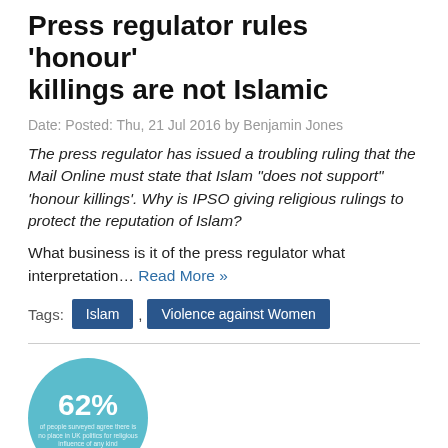Press regulator rules 'honour' killings are not Islamic
Date: Posted: Thu, 21 Jul 2016 by Benjamin Jones
The press regulator has issued a troubling ruling that the Mail Online must state that Islam "does not support" 'honour killings'. Why is IPSO giving religious rulings to protect the reputation of Islam?
What business is it of the press regulator what interpretation… Read More »
Tags: Islam , Violence against Women
[Figure (infographic): A teal circular badge displaying '62%' in large white bold text, with smaller explanatory text below inside the circle.]
62% say there is “no place in UK politics for religious influence of any kind”